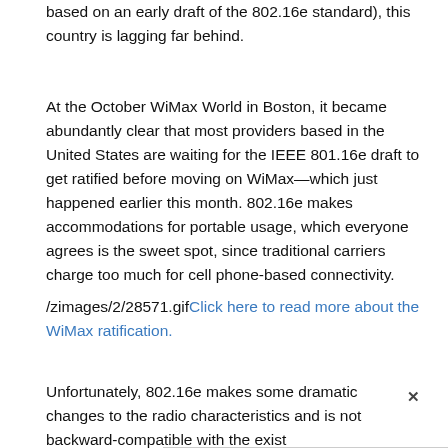based on an early draft of the 802.16e standard), this country is lagging far behind.
At the October WiMax World in Boston, it became abundantly clear that most providers based in the United States are waiting for the IEEE 801.16e draft to get ratified before moving on WiMax—which just happened earlier this month. 802.16e makes accommodations for portable usage, which everyone agrees is the sweet spot, since traditional carriers charge too much for cell phone-based connectivity.
/zimages/2/28571.gifClick here to read more about the WiMax ratification.
Unfortunately, 802.16e makes some dramatic changes to the radio characteristics and is not backward-compatible with the exist